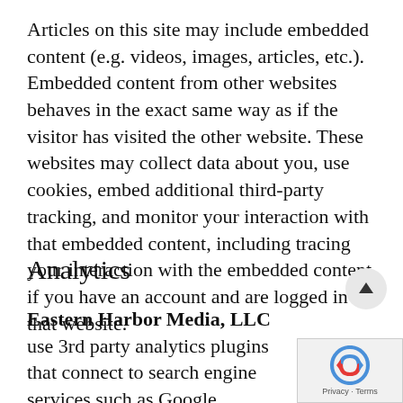Articles on this site may include embedded content (e.g. videos, images, articles, etc.). Embedded content from other websites behaves in the exact same way as if the visitor has visited the other website. These websites may collect data about you, use cookies, embed additional third-party tracking, and monitor your interaction with that embedded content, including tracing your interaction with the embedded content if you have an account and are logged in to that website.
Analytics
Eastern Harbor Media, LLC use 3rd party analytics plugins that connect to search engine services such as Google Analytics a Google Search Console which helps us to